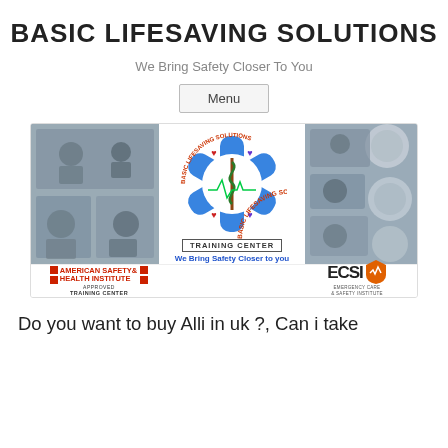BASIC LIFESAVING SOLUTIONS
We Bring Safety Closer To You
Menu
[Figure (illustration): Banner image for Basic Lifesaving Solutions Training Center showing a collage of first aid training photos on the left, the Basic Lifesaving Solutions logo with a Star of Life in the center with text 'TRAINING CENTER' and 'We Bring Safety Closer to you', and on the right a collage of training photos plus ECSI Emergency Care & Safety Institute Approved Education Center logo. Bottom left shows American Safety & Health Institute Approved Training Center logo.]
Do you want to buy Alli in uk ?, Can i take